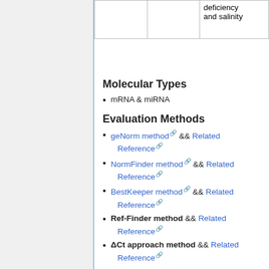|  |  | deficiency and salinity |
| --- | --- | --- |
|  |  |  |
Molecular Types
mRNA & miRNA
Evaluation Methods
geNorm method && Related Reference
NormFinder method && Related Reference
BestKeeper method && Related Reference
Ref-Finder method && Related Reference
ΔCt approach method && Related Reference
Contact